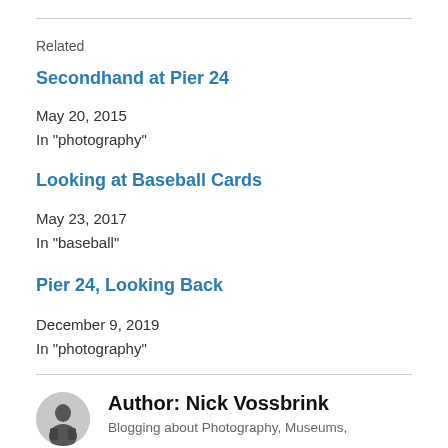Related
Secondhand at Pier 24
May 20, 2015
In "photography"
Looking at Baseball Cards
May 23, 2017
In "baseball"
Pier 24, Looking Back
December 9, 2019
In "photography"
Author: Nick Vossbrink
Blogging about Photography, Museums,